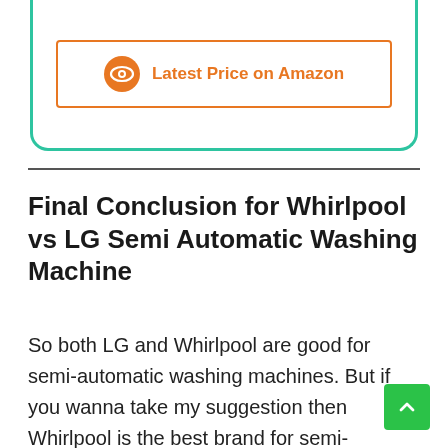[Figure (other): Amazon price button with eye icon and orange border inside a green-bordered card]
Final Conclusion for Whirlpool vs LG Semi Automatic Washing Machine
So both LG and Whirlpool are good for semi-automatic washing machines. But if you wanna take my suggestion then Whirlpool is the best brand for semi-